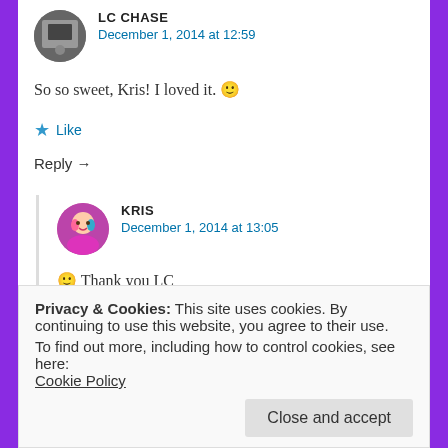LC CHASE
December 1, 2014 at 12:59
So so sweet, Kris! I loved it. 🙂
★ Like
Reply →
KRIS
December 1, 2014 at 13:05
🙂 Thank you LC
★ Like
Privacy & Cookies: This site uses cookies. By continuing to use this website, you agree to their use.
To find out more, including how to control cookies, see here:
Cookie Policy
Close and accept